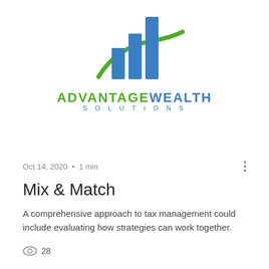[Figure (logo): Advantage Wealth Solutions logo with blue bar chart graphic and green swoosh, with company name below]
Oct 14, 2020 • 1 min
Mix & Match
A comprehensive approach to tax management could include evaluating how strategies can work together.
28